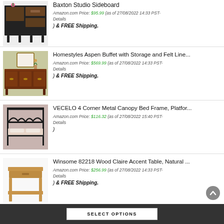[Figure (photo): Baxton Studio Sideboard furniture product photo - dark wood sideboard with open shelves]
Baxton Studio Sideboard
Amazon.com Price: $95.99 (as of 27/08/2022 14:33 PST- Details
) & FREE Shipping.
[Figure (photo): Homestyles Aspen Buffet with Storage - brown wood buffet table with drawers and cabinets]
Homestyles Aspen Buffet with Storage and Felt Line...
Amazon.com Price: $569.99 (as of 27/08/2022 14:33 PST- Details
) & FREE Shipping.
[Figure (photo): VECELO 4 Corner Metal Canopy Bed Frame - black metal four-post canopy bed]
VECELO 4 Corner Metal Canopy Bed Frame, Platfor...
Amazon.com Price: $116.32 (as of 27/08/2022 15:40 PST- Details
)
[Figure (photo): Winsome 82218 Wood Claire Accent Table - natural wood side table with shelf]
Winsome 82218 Wood Claire Accent Table, Natural ...
Amazon.com Price: $256.99 (as of 27/08/2022 14:33 PST- Details
) & FREE Shipping.